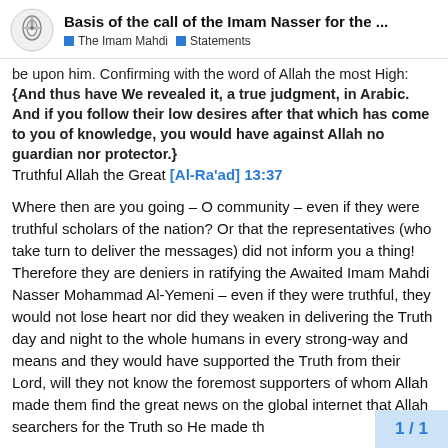Basis of the call of the Imam Nasser for the ... | The Imam Mahdi | Statements
be upon him. Confirming with the word of Allah the most High: {And thus have We revealed it, a true judgment, in Arabic. And if you follow their low desires after that which has come to you of knowledge, you would have against Allah no guardian nor protector.} Truthful Allah the Great [Al-Ra’ad] 13:37
Where then are you going – O community – even if they were truthful scholars of the nation? Or that the representatives (who take turn to deliver the messages) did not inform you a thing! Therefore they are deniers in ratifying the Awaited Imam Mahdi Nasser Mohammad Al-Yemeni – even if they were truthful, they would not lose heart nor did they weaken in delivering the Truth day and night to the whole humans in every strong-way and means and they would have supported the Truth from their Lord, will they not know the foremost supporters of whom Allah made them find the great news on the global internet that Allah searchers for the Truth so He made th